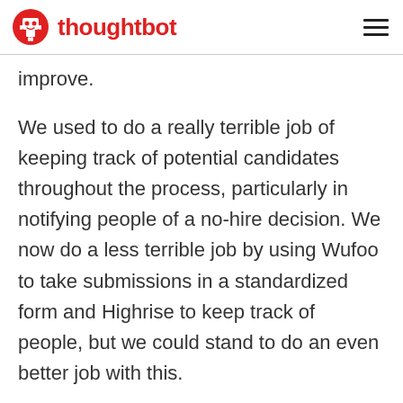thoughtbot
improve.
We used to do a really terrible job of keeping track of potential candidates throughout the process, particularly in notifying people of a no-hire decision. We now do a less terrible job by using Wufoo to take submissions in a standardized form and Highrise to keep track of people, but we could stand to do an even better job with this.
As I mentioned above, our technical interview